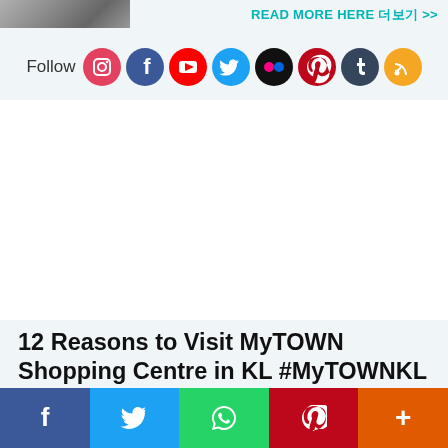[Figure (photo): Small thumbnail photo at top left corner]
READ MORE HERE 더보기 >>
Follow
[Figure (infographic): Social media follow icons: Instagram, Facebook, YouTube, Twitter, Flickr, Pinterest, Tumblr, RSS]
12 Reasons to Visit MyTOWN Shopping Centre in KL #MyTOWNKL
By TianChad田七 - June 04, 2017
[Figure (infographic): Social share bar with Facebook, Twitter, WhatsApp, Pinterest, and More buttons]